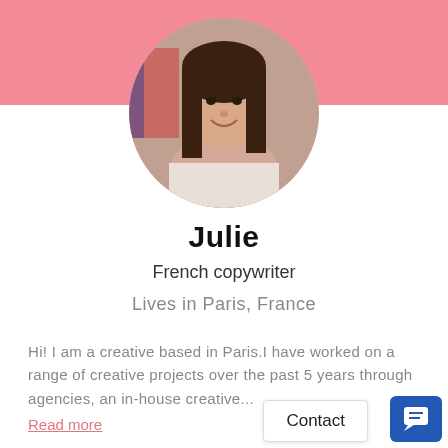[Figure (photo): Circular profile photo of a young woman with long dark hair, smiling, with a flag in the background. Photo is displayed over a pink header banner.]
Julie
French copywriter
Lives in Paris, France
Hi! I am a creative based in Paris.I have worked on a range of creative projects over the past 5 years through agencies, an in-house creative...
Read more